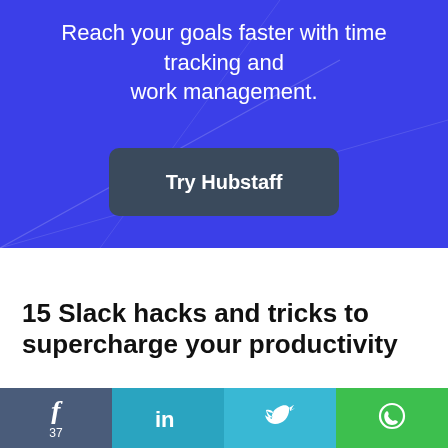[Figure (infographic): Blue promotional banner with diagonal line decorations and a dark 'Try Hubstaff' button]
Reach your goals faster with time tracking and work management.
15 Slack hacks and tricks to supercharge your productivity
Slack can be a constant distraction. It can also help
Social share bar: Facebook (37), LinkedIn, Twitter, WhatsApp